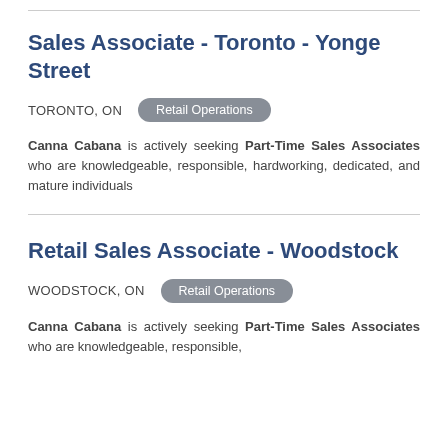Sales Associate - Toronto - Yonge Street
TORONTO, ON   Retail Operations
Canna Cabana is actively seeking Part-Time Sales Associates who are knowledgeable, responsible, hardworking, dedicated, and mature individuals
Retail Sales Associate - Woodstock
WOODSTOCK, ON   Retail Operations
Canna Cabana is actively seeking Part-Time Sales Associates who are knowledgeable, responsible,